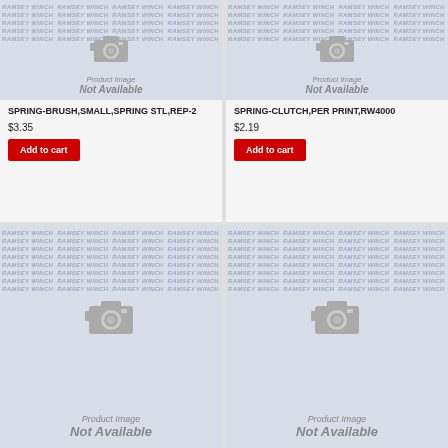[Figure (other): Product image not available placeholder with Ramsey Winch watermark and camera icon]
SPRING-BRUSH,SMALL,SPRING STL,REP-2
$3.35
Add to cart
[Figure (other): Product image not available placeholder with Ramsey Winch watermark and camera icon]
SPRING-CLUTCH,PER PRINT,RW4000
$2.19
Add to cart
[Figure (other): Product image not available placeholder with Ramsey Winch watermark and camera icon]
[Figure (other): Product image not available placeholder with Ramsey Winch watermark and camera icon]